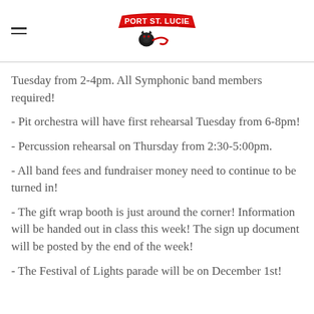Port St. Lucie High School Band
Tuesday from 2-4pm. All Symphonic band members required!
- Pit orchestra will have first rehearsal Tuesday from 6-8pm!
- Percussion rehearsal on Thursday from 2:30-5:00pm.
- All band fees and fundraiser money need to continue to be turned in!
- The gift wrap booth is just around the corner! Information will be handed out in class this week! The sign up document will be posted by the end of the week!
- The Festival of Lights parade will be on December 1st!